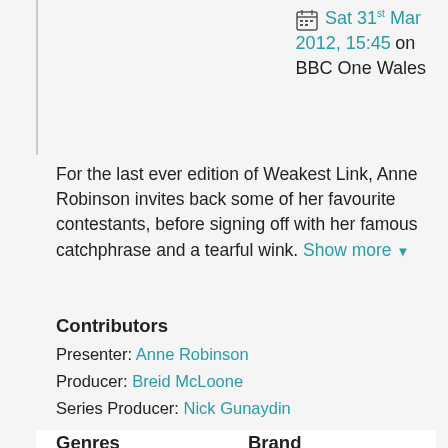Sat 31st Mar 2012, 15:45 on BBC One Wales
For the last ever edition of Weakest Link, Anne Robinson invites back some of her favourite contestants, before signing off with her famous catchphrase and a tearful wink. Show more
Contributors
Presenter: Anne Robinson
Producer: Breid McLoone
Series Producer: Nick Gunaydin
Genres
Brand
Entertainment
Weakest Link
Formats
Games & Quizzes